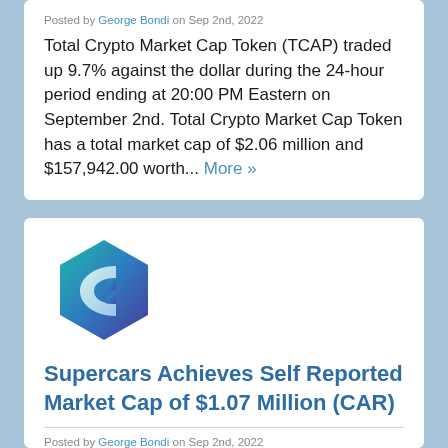Posted by George Bondi on Sep 2nd, 2022
Total Crypto Market Cap Token (TCAP) traded up 9.7% against the dollar during the 24-hour period ending at 20:00 PM Eastern on September 2nd. Total Crypto Market Cap Token has a total market cap of $2.06 million and $157,942.00 worth... More »
[Figure (logo): Hexagonal cryptocurrency logo with teal-to-purple gradient and a stylized C-shaped symbol inside]
Supercars Achieves Self Reported Market Cap of $1.07 Million (CAR)
Posted by George Bondi on Sep 2nd, 2022
Supercars (CAR) Ethereum 5.04th...